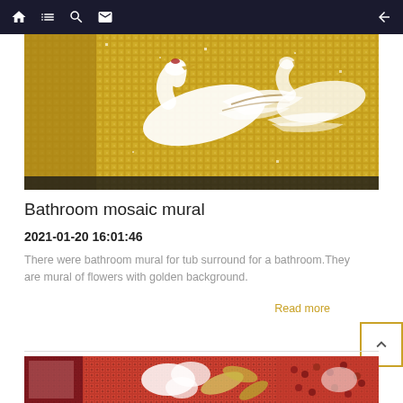Navigation bar with home, list, search, mail icons and back arrow
[Figure (photo): Bathroom mosaic mural photo showing white bird/crane figures on a golden glittery mosaic tile background]
Bathroom mosaic mural
2021-01-20 16:01:46
There were bathroom mural for tub surround for a bathroom.They are mural of flowers with golden background.
Read more
[Figure (photo): Second mosaic mural photo showing red berry/floral mosaic pattern with white and yellow floral elements on red background]